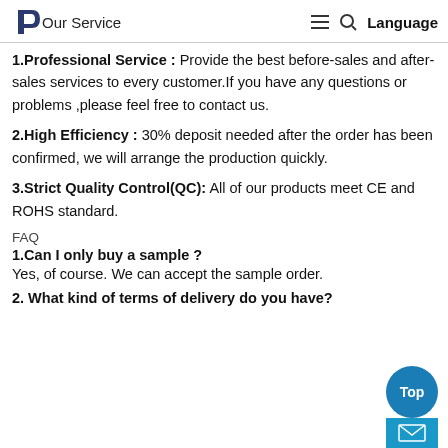Our Service  ≡  🔍  Language
1.Professional Service : Provide the best before-sales and after-sales services to every customer.If you have any questions or problems ,please feel free to contact us.
2.High Efficiency : 30% deposit needed after the order has been confirmed, we will arrange the production quickly.
3.Strict Quality Control(QC): All of our products meet CE and ROHS standard.
FAQ
1.Can I only buy a sample ?
Yes, of course. We can accept the sample order.
2. What kind of terms of delivery do you have?